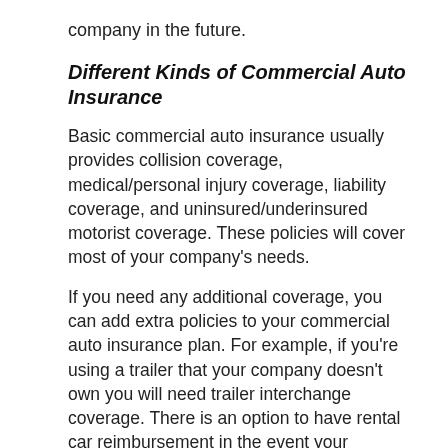company in the future.
Different Kinds of Commercial Auto Insurance
Basic commercial auto insurance usually provides collision coverage, medical/personal injury coverage, liability coverage, and uninsured/underinsured motorist coverage. These policies will cover most of your company's needs.
If you need any additional coverage, you can add extra policies to your commercial auto insurance plan. For example, if you're using a trailer that your company doesn't own you will need trailer interchange coverage. There is an option to have rental car reimbursement in the event your company car needs repair and you need a rental. Sometimes you may need "hired vehicles" (U-Hauls) and can receive coverage for those, as well. Depending on your company's needs, you may also require non-